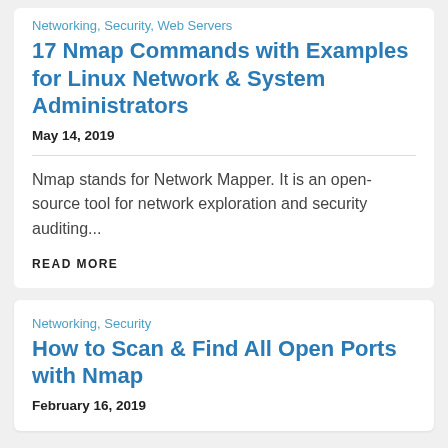Networking, Security, Web Servers
17 Nmap Commands with Examples for Linux Network & System Administrators
May 14, 2019
Nmap stands for Network Mapper. It is an open-source tool for network exploration and security auditing...
READ MORE
Networking, Security
How to Scan & Find All Open Ports with Nmap
February 16, 2019